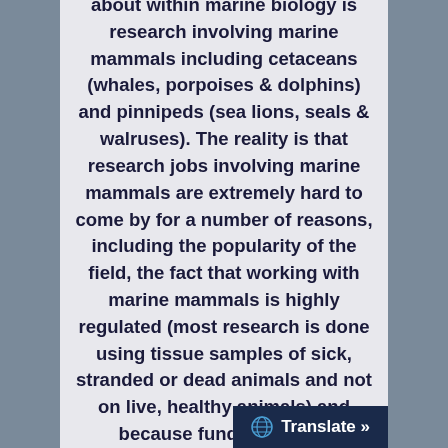about within marine biology is research involving marine mammals including cetaceans (whales, porpoises & dolphins) and pinnipeds (sea lions, seals & walruses). The reality is that research jobs involving marine mammals are extremely hard to come by for a number of reasons, including the popularity of the field, the fact that working with marine mammals is highly regulated (most research is done using tissue samples of sick, stranded or dead animals and not on live, healthy animals) and because funding is very competitive
[Figure (screenshot): Translate button widget in bottom-right corner with globe icon]